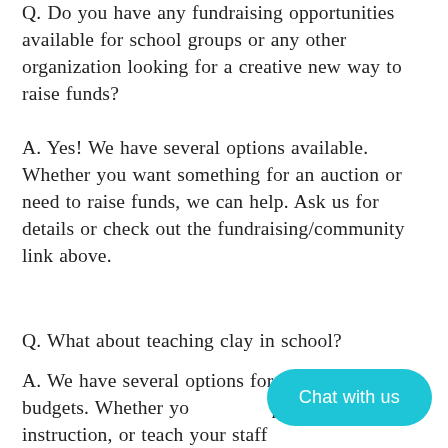Q. Do you have any fundraising opportunities available for school groups or any other organization looking for a creative new way to raise funds?
A. Yes! We have several options available. Whether you want something for an auction or need to raise funds, we can help. Ask us for details or check out the fundraising/community link above.
Q. What about teaching clay in school?
A. We have several options for schools to suit all budgets. Whether yo provide the instruction, or teach your staff